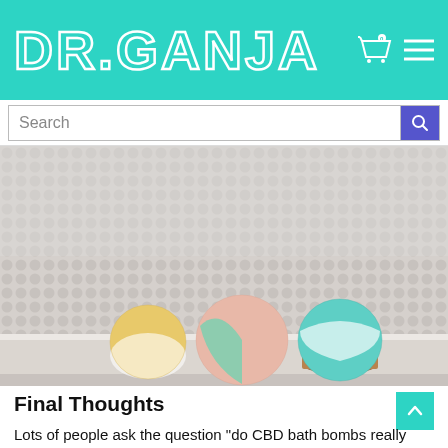DR.GANJA
Search
[Figure (photo): Three colorful CBD bath bombs sitting on the edge of a bathtub ledge against a mosaic tile background. The bath bombs are round: one yellow/white on the left, one pink/green in the center, and one teal/white on the right sitting in a small wooden bowl.]
Final Thoughts
Lots of people ask the question “do CBD bath bombs really